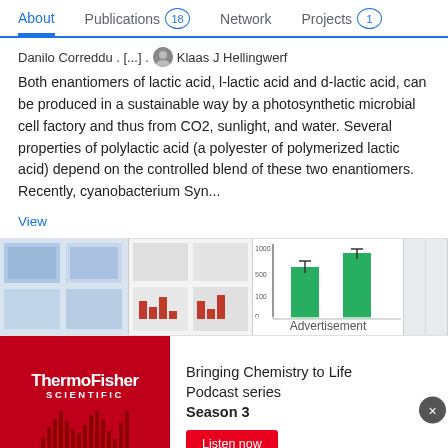About | Publications 18 | Network | Projects 1
Danilo Correddu . [...] . Klaas J Hellingwerf
Both enantiomers of lactic acid, l-lactic acid and d-lactic acid, can be produced in a sustainable way by a photosynthetic microbial cell factory and thus from CO2, sunlight, and water. Several properties of polylactic acid (a polyester of polymerized lactic acid) depend on the controlled blend of these two enantiomers. Recently, cyanobacterium Syn...
View
[Figure (screenshot): Row of research paper thumbnail images with scientific figures including microscopy, charts, and graphs. An 'Advertisement' label is overlaid on the images.]
[Figure (infographic): ThermoFisher Scientific advertisement banner: red left panel with logo, right panel with text 'Bringing Chemistry to Life Podcast series Season 3' and a red 'Listen now' button. Thermo Scientific logo at bottom right.]